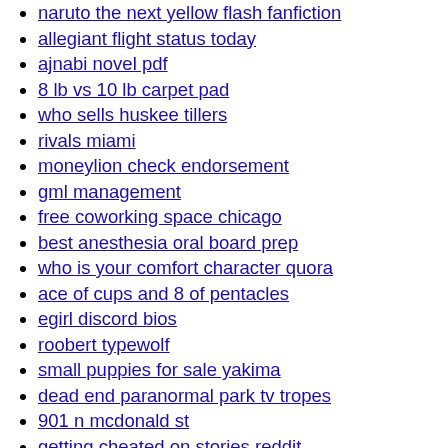naruto the next yellow flash fanfiction
allegiant flight status today
ajnabi novel pdf
8 lb vs 10 lb carpet pad
who sells huskee tillers
rivals miami
moneylion check endorsement
gml management
free coworking space chicago
best anesthesia oral board prep
who is your comfort character quora
ace of cups and 8 of pentacles
egirl discord bios
roobert typewolf
small puppies for sale yakima
dead end paranormal park tv tropes
901 n mcdonald st
getting cheated on stories reddit
wholesale fashion jewelry los angeles
do you enjoy being alone reddit
magic vlsi
christmas vacation santa and reindeer yard decorations
who should call first in a relationship
john deere 240 series 2 for sale
orthopedic concierge
lincoln property management careers